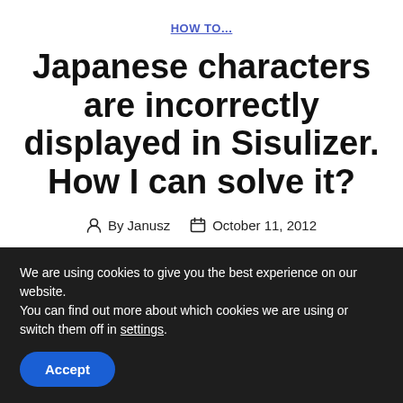HOW TO...
Japanese characters are incorrectly displayed in Sisulizer. How I can solve it?
By Janusz    October 11, 2012
We are using cookies to give you the best experience on our website.
You can find out more about which cookies we are using or switch them off in settings.
Accept